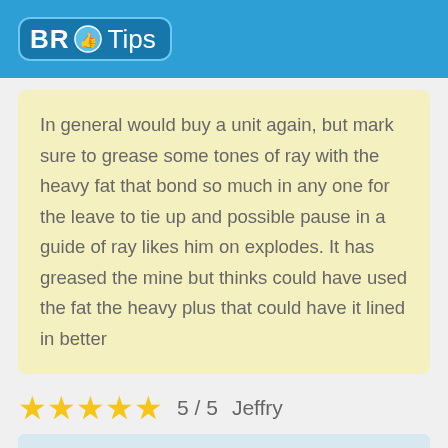BR Tips
In general would buy a unit again, but mark sure to grease some tones of ray with the heavy fat that bond so much in any one for the leave to tie up and possible pause in a guide of ray likes him on explodes. It has greased the mine but thinks could have used the fat the heavy plus that could have it lined in better
5 / 5  Jeffry
In the first place you are, yes, a mamma of sleeve